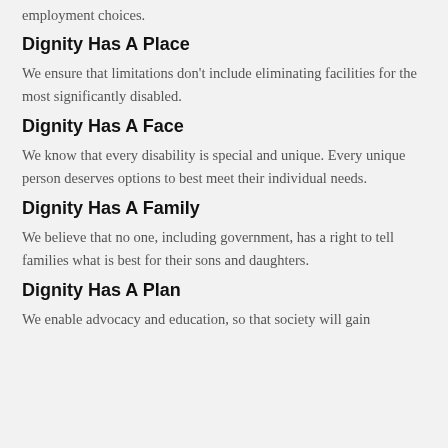employment choices.
Dignity Has A Place
We ensure that limitations don't include eliminating facilities for the most significantly disabled.
Dignity Has A Face
We know that every disability is special and unique. Every unique person deserves options to best meet their individual needs.
Dignity Has A Family
We believe that no one, including government, has a right to tell families what is best for their sons and daughters.
Dignity Has A Plan
We enable advocacy and education, so that society will gain